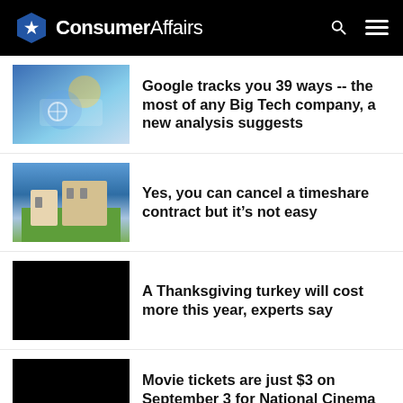ConsumerAffairs
Google tracks you 39 ways -- the most of any Big Tech company, a new analysis suggests
Yes, you can cancel a timeshare contract but it’s not easy
A Thanksgiving turkey will cost more this year, experts say
Movie tickets are just $3 on September 3 for National Cinema Day
Epoch Everlasting Play recalls Kidoozie Activity Desk toys
Flying somewhere soon? Airlines update commitments to passengers when flights…